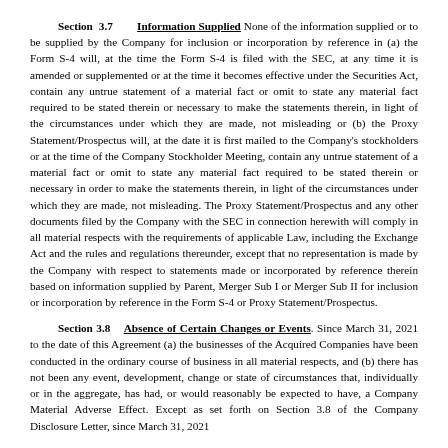Section 3.7 Information Supplied None of the information supplied or to be supplied by the Company for inclusion or incorporation by reference in (a) the Form S-4 will, at the time the Form S-4 is filed with the SEC, at any time it is amended or supplemented or at the time it becomes effective under the Securities Act, contain any untrue statement of a material fact or omit to state any material fact required to be stated therein or necessary to make the statements therein, in light of the circumstances under which they are made, not misleading or (b) the Proxy Statement/Prospectus will, at the date it is first mailed to the Company's stockholders or at the time of the Company Stockholder Meeting, contain any untrue statement of a material fact or omit to state any material fact required to be stated therein or necessary in order to make the statements therein, in light of the circumstances under which they are made, not misleading. The Proxy Statement/Prospectus and any other documents filed by the Company with the SEC in connection herewith will comply in all material respects with the requirements of applicable Law, including the Exchange Act and the rules and regulations thereunder, except that no representation is made by the Company with respect to statements made or incorporated by reference therein based on information supplied by Parent, Merger Sub I or Merger Sub II for inclusion or incorporation by reference in the Form S-4 or Proxy Statement/Prospectus.
Section 3.8 Absence of Certain Changes or Events. Since March 31, 2021 to the date of this Agreement (a) the businesses of the Acquired Companies have been conducted in the ordinary course of business in all material respects, and (b) there has not been any event, development, change or state of circumstances that, individually or in the aggregate, has had, or would reasonably be expected to have, a Company Material Adverse Effect. Except as set forth on Section 3.8 of the Company Disclosure Letter, since March 31, 2021